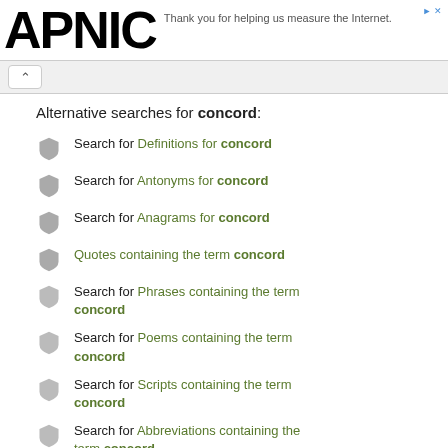APNIC — Thank you for helping us measure the Internet.
Alternative searches for concord:
Search for Definitions for concord
Search for Antonyms for concord
Search for Anagrams for concord
Quotes containing the term concord
Search for Phrases containing the term concord
Search for Poems containing the term concord
Search for Scripts containing the term concord
Search for Abbreviations containing the term concord
What rhymes with concord?